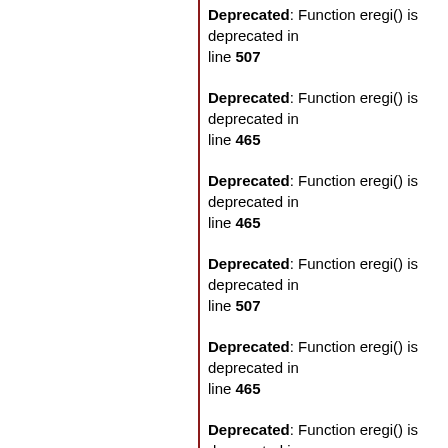Deprecated: Function eregi() is deprecated in line 507
Deprecated: Function eregi() is deprecated in line 465
Deprecated: Function eregi() is deprecated in line 465
Deprecated: Function eregi() is deprecated in line 507
Deprecated: Function eregi() is deprecated in line 465
Deprecated: Function eregi() is deprecated in line 507
Deprecated: Function eregi() is deprecated in line 465
Deprecated: Function eregi() is deprecated in line 465
Deprecated: Function eregi() is deprecated in line 465
Deprecated: Function eregi() is deprecated in line 507